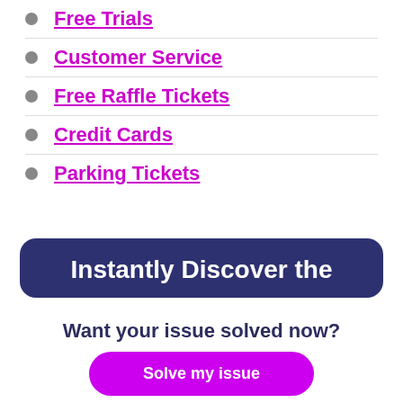Free Trials
Customer Service
Free Raffle Tickets
Credit Cards
Parking Tickets
Instantly Discover the
Want your issue solved now?
Solve my issue